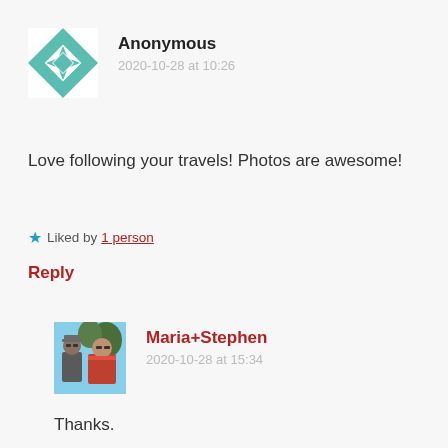[Figure (illustration): Teal and white geometric quilt-pattern avatar for Anonymous commenter]
Anonymous
2020-10-28 at 10:26
Love following your travels! Photos are awesome!
★ Liked by 1 person
Reply
[Figure (photo): Photo of Maria+Stephen, a couple wearing sunglasses outdoors]
Maria+Stephen
2020-10-28 at 15:34
Thanks.